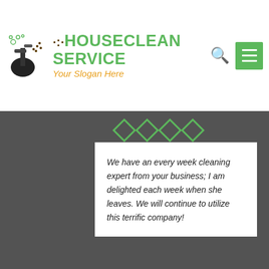[Figure (logo): HouseClean Service logo with cleaning equipment icon, green bold text 'HOUSECLEAN SERVICE' and orange italic slogan 'Your Slogan Here']
[Figure (photo): Background photo of cleaning scene (mop/bucket on floor) with dark overlay; contains testimonial card and author details]
We have an every week cleaning expert from your business; I am delighted each week when she leaves. We will continue to utilize this terrific company!
Robert Ackerman
June 27, 2018
We Also Provide Apartment Cleaning